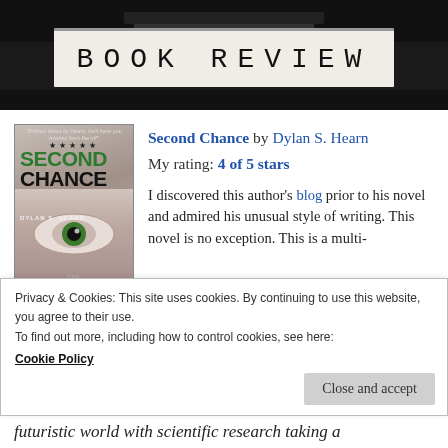[Figure (photo): Book Review banner image showing typewriter with 'BOOK REVIEW' text on paper]
[Figure (photo): Book cover of 'Second Chance' by Dylan S. Hearn, showing a green eye and dark atmospheric design]
Second Chance by Dylan S. Hearn
My rating: 4 of 5 stars
I discovered this author's blog prior to his novel and admired his unusual style of writing. This novel is no exception. This is a multi-viewpoint story so tells the story from the perspective of four different characters: a futuristic world with scientific research taking a
Privacy & Cookies: This site uses cookies. By continuing to use this website, you agree to their use.
To find out more, including how to control cookies, see here:
Cookie Policy
Close and accept